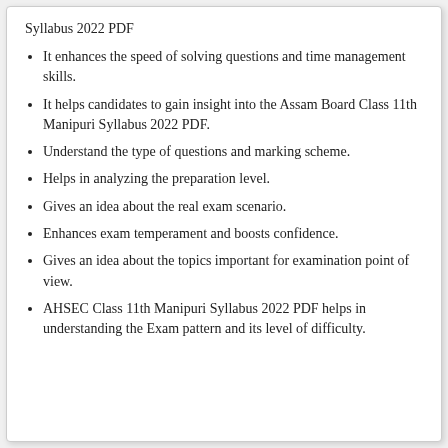Syllabus 2022 PDF
It enhances the speed of solving questions and time management skills.
It helps candidates to gain insight into the Assam Board Class 11th Manipuri Syllabus 2022 PDF.
Understand the type of questions and marking scheme.
Helps in analyzing the preparation level.
Gives an idea about the real exam scenario.
Enhances exam temperament and boosts confidence.
Gives an idea about the topics important for examination point of view.
AHSEC Class 11th Manipuri Syllabus 2022 PDF helps in understanding the Exam pattern and its level of difficulty.